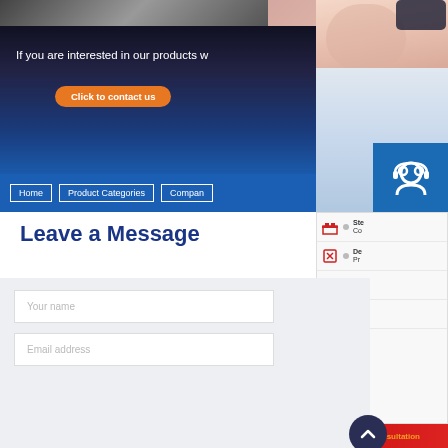[Figure (screenshot): Top image strip showing dark industrial surface on left and warm toned image on right]
[Figure (screenshot): Blue promotional banner with text 'If you are interested in our products w' and orange 'Click to contact us' button]
If you are interested in our products w
Click to contact us
[Figure (screenshot): Navigation bar with Home, Product Categories, Compan... menu items on blue background]
Home
Product Categories
Compan
[Figure (photo): Customer service representative smiling, wearing headset, right side of page]
[Figure (infographic): Blue icon buttons on right: headset/support icon, phone/call icon, Skype icon]
[Figure (infographic): Side panel menu with industrial icons and partial text: Ste... Co..., De... Pr..., Lo... ans..., Aft... Ser...]
Leave a Message
Online Consultation
[Figure (screenshot): Contact form with Your name and Email address input fields]
Your name
Email address